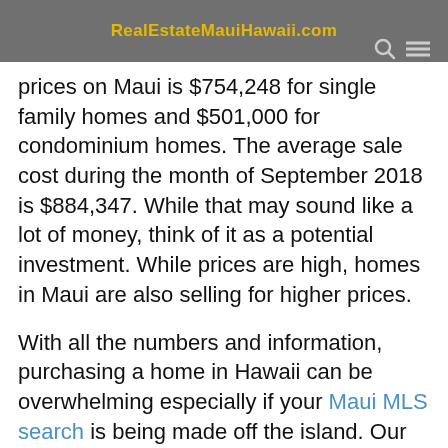prices on Maui is $754,248 for single family homes and $501,000 for condominium homes. The average sale cost during the month of September 2018 is $884,347. While that may sound like a lot of money, think of it as a potential investment. While prices are high, homes in Maui are also selling for higher prices.
With all the numbers and information, purchasing a home in Hawaii can be overwhelming especially if your Maui MLS search is being made off the island. Our professional Maui real estate agents, Mark and Lisa, are well-versed in the market trends and are equipped to guide you through the process. So take the time to book at the luxury of your home or contact ...